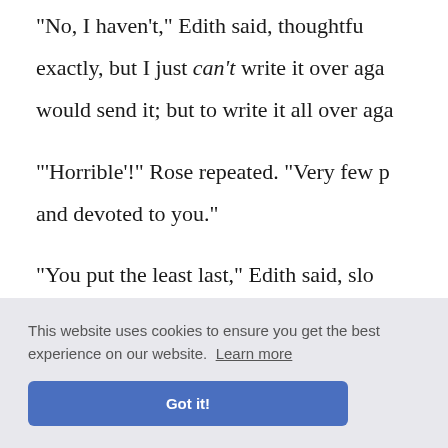"No, I haven't," Edith said, thoughtfu exactly, but I just can't write it over aga would send it; but to write it all over aga
'Horrible'!" Rose repeated. "Very few p and devoted to you."
"You put the least last," Edith said, slo devoted to me, after all. He may only fa
"Nonsense!" Rose said, warmly. "He isn years—" She paused.
l her hair
-forward, ur circum p up a ce
This website uses cookies to ensure you get the best experience on our website. Learn more
Got it!